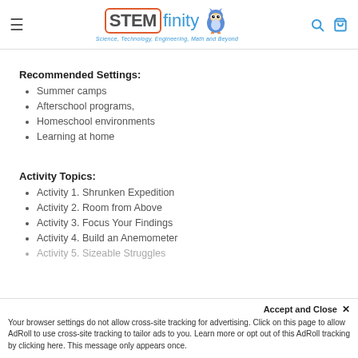STEMfinity — Science, Technology, Engineering, Math and Beyond
Recommended Settings:
Summer camps
Afterschool programs,
Homeschool environments
Learning at home
Activity Topics:
Activity 1. Shrunken Expedition
Activity 2. Room from Above
Activity 3. Focus Your Findings
Activity 4. Build an Anemometer
Activity 5. Sizeable Struggles
Accept and Close ✕
Your browser settings do not allow cross-site tracking for advertising. Click on this page to allow AdRoll to use cross-site tracking to tailor ads to you. Learn more or opt out of this AdRoll tracking by clicking here. This message only appears once.